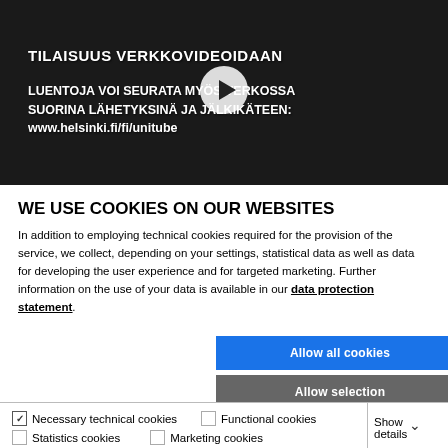[Figure (screenshot): Dark background video thumbnail showing Finnish text about online video streaming with a play button overlay. Text reads: TILAISUUS VERKKOVIDEOIDAAN / LUENTOJA VOI SEURATA MYÖS VERKOSSA SUORINA LÄHETYKSINÄ JA JÄLKIKÄTEEN: www.helsinki.fi/fi/unitube]
WE USE COOKIES ON OUR WEBSITES
In addition to employing technical cookies required for the provision of the service, we collect, depending on your settings, statistical data as well as data for developing the user experience and for targeted marketing. Further information on the use of your data is available in our data protection statement.
Allow all cookies
Allow selection
Use necessary cookies only
Necessary technical cookies  Functional cookies  Statistics cookies  Marketing cookies  Show details